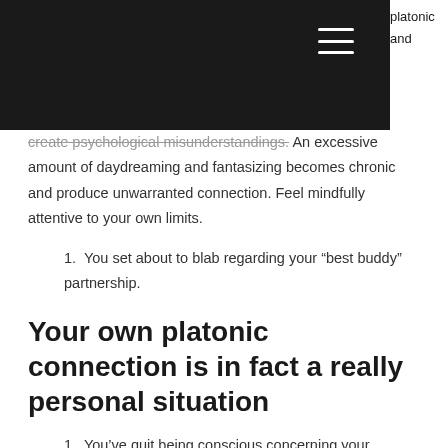platonic and
create psychological misunderstandings. An excessive amount of daydreaming and fantasizing becomes chronic and produce unwarranted connection. Feel mindfully attentive to your own limits.
1. You set about to blab regarding your “best buddy” partnership.
Your own platonic connection is in fact a really personal situation
1. You’ve quit being conscious concerning your relationship and quite often cross borders.